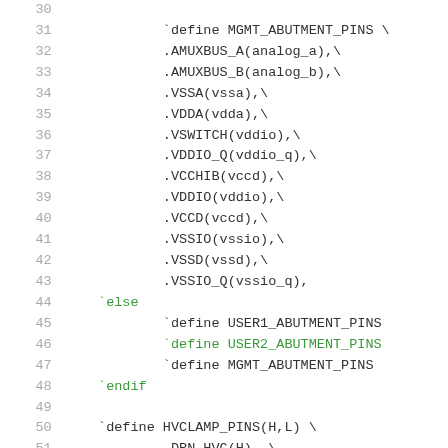Source code listing lines 30-51, Verilog/SystemVerilog preprocessor macros defining abutment pins and HVCLAMP pins